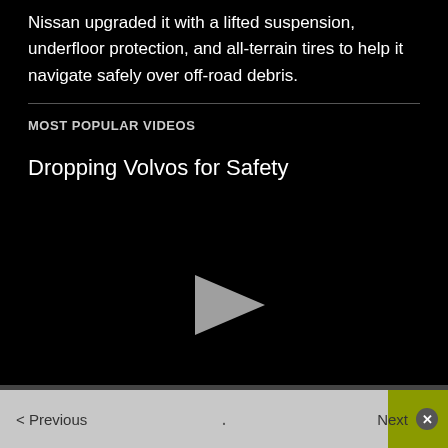Nissan upgraded it with a lifted suspension, underfloor protection, and all-terrain tires to help it navigate safely over off-road debris.
MOST POPULAR VIDEOS
Dropping Volvos for Safety
[Figure (screenshot): Video player with black background and a play button triangle in the center]
< Previous . Next ×